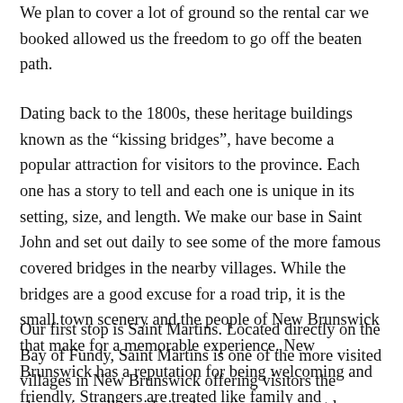We plan to cover a lot of ground so the rental car we booked allowed us the freedom to go off the beaten path.
Dating back to the 1800s, these heritage buildings known as the “kissing bridges”, have become a popular attraction for visitors to the province. Each one has a story to tell and each one is unique in its setting, size, and length. We make our base in Saint John and set out daily to see some of the more famous covered bridges in the nearby villages. While the bridges are a good excuse for a road trip, it is the small town scenery and the people of New Brunswick that make for a memorable experience. New Brunswick has a reputation for being welcoming and friendly. Strangers are treated like family and everyone is always quick to offer advice.
Our first stop is Saint Martins. Located directly on the Bay of Fundy, Saint Martins is one of the more visited villages in New Brunswick offering visitors the chance to walk inside its dramatic sea caves at low tide. The Saint Martin Sea Caves rival the Hopewell Rocks as one of the best places on the East Coast to witness the immense tides. The Bay of Fundy shifts up to 16 meters, (52 feet) creating a dramatic